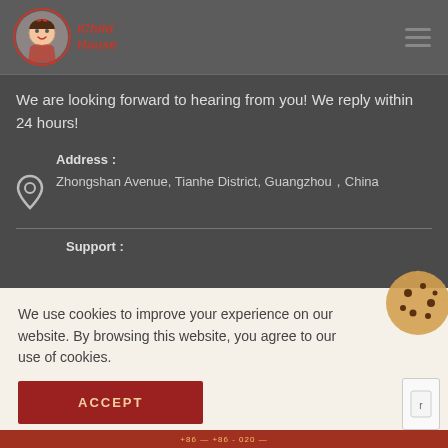Child House — navigation header with logo and hamburger menu
We are looking forward to hearing from you! We reply within 24 hours!
Address :
Zhongshan Avenue, Tianhe District, Guangzhou，China
Support :
We use cookies to improve your experience on our website. By browsing this website, you agree to our use of cookies.
ACCEPT